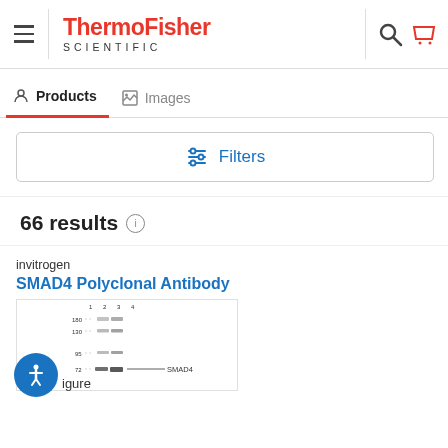ThermoFisher SCIENTIFIC
Products | Images
Filters
66 results
invitrogen
SMAD4 Polyclonal Antibody
[Figure (photo): Western blot image showing SMAD4 protein bands across 4 lanes with molecular weight markers at 180, 130, 95, and 72 kDa. SMAD4 label shown at ~72 kDa band.]
Figure